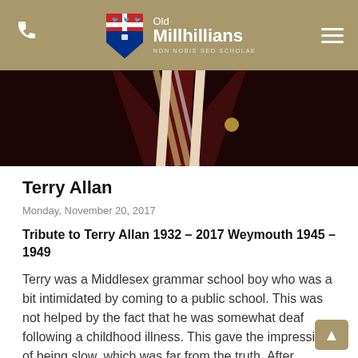Old Millhillians | NON NOBIS SED SCHOLAE
[Figure (photo): Close-up photo of a striped school tie and blazer in dark red/maroon tones, with a small pin badge visible]
Terry Allan
Monday, November 20, 2017
Tribute to Terry Allan 1932 – 2017 Weymouth 1945 – 1949
Terry was a Middlesex grammar school boy who was a bit intimidated by coming to a public school. This was not helped by the fact that he was somewhat deaf following a childhood illness. This gave the impression of being slow, which was far from the truth. After school, when he learned to lip read it